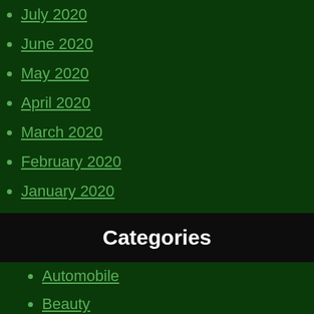July 2020
June 2020
May 2020
April 2020
March 2020
February 2020
January 2020
Categories
Automobile
Beauty
Business
Digital Marketing
Education